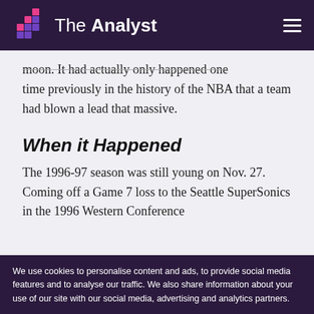The Analyst
moon. It had actually only happened one time previously in the history of the NBA that a team had blown a lead that massive.
When it Happened
The 1996-97 season was still young on Nov. 27. Coming off a Game 7 loss to the Seattle SuperSonics in the 1996 Western Conference
We use cookies to personalise content and ads, to provide social media features and to analyse our traffic. We also share information about your use of our site with our social media, advertising and analytics partners.